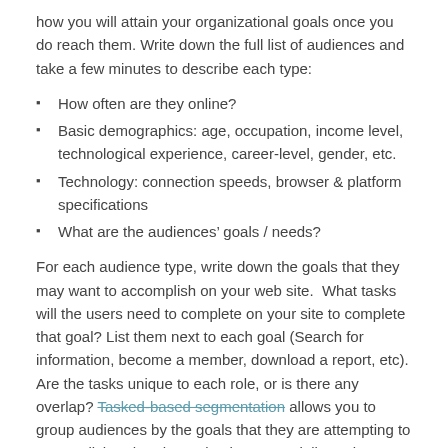how you will attain your organizational goals once you do reach them. Write down the full list of audiences and take a few minutes to describe each type:
How often are they online?
Basic demographics: age, occupation, income level, technological experience, career-level, gender, etc.
Technology: connection speeds, browser & platform specifications
What are the audiences' goals / needs?
For each audience type, write down the goals that they may want to accomplish on your web site.  What tasks will the users need to complete on your site to complete that goal? List them next to each goal (Search for information, become a member, download a report, etc). Are the tasks unique to each role, or is there any overlap? Tasked-based segmentation allows you to group audiences by the goals that they are attempting to accomplish rather than role, thus potentially saving you from segmenting your audiences into many sub-roles with similar goals.